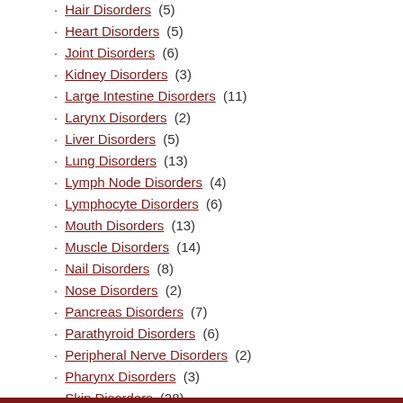Hair Disorders (5)
Heart Disorders (5)
Joint Disorders (6)
Kidney Disorders (3)
Large Intestine Disorders (11)
Larynx Disorders (2)
Liver Disorders (5)
Lung Disorders (13)
Lymph Node Disorders (4)
Lymphocyte Disorders (6)
Mouth Disorders (13)
Muscle Disorders (14)
Nail Disorders (8)
Nose Disorders (2)
Pancreas Disorders (7)
Parathyroid Disorders (6)
Peripheral Nerve Disorders (2)
Pharynx Disorders (3)
Skin Disorders (28)